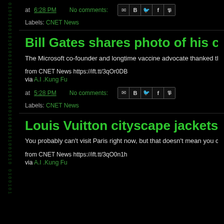at 6:28 PM   No comments:   [share icons]
Labels: CNET News
Bill Gates shares photo of his coronavir
The Microsoft co-founder and longtime vaccine advocate thanked those
from CNET News https://ift.tt/3qOr0DB
via A.I .Kung Fu
at 5:28 PM   No comments:   [share icons]
Labels: CNET News
Louis Vuitton cityscape jackets dress yo
You probably can't visit Paris right now, but that doesn't mean you can't d
from CNET News https://ift.tt/3qO0n1h
via A.I .Kung Fu